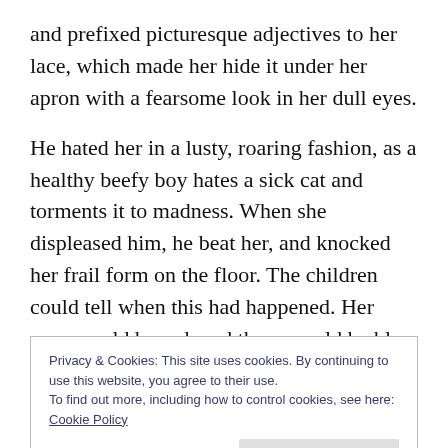and prefixed picturesque adjectives to her lace, which made her hide it under her apron with a fearsome look in her dull eyes.
He hated her in a lusty, roaring fashion, as a healthy beefy boy hates a sick cat and torments it to madness. When she displeased him, he beat her, and knocked her frail form on the floor. The children could tell when this had happened. Her eyes would be red, and there would be blue marks on her face and neck. “Poor Mrs. Tony,” they would say, and nestle close to her. Tony did not roar at her
Privacy & Cookies: This site uses cookies. By continuing to use this website, you agree to their use.
To find out more, including how to control cookies, see here: Cookie Policy
because she ate too much, and she disappeared soon